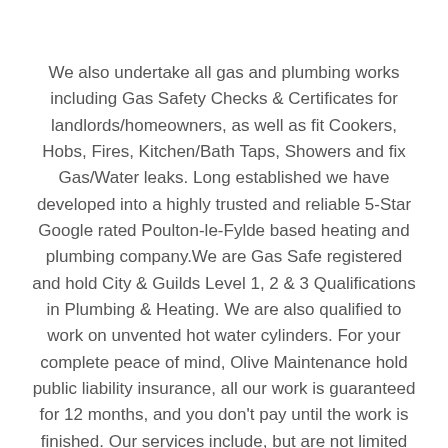We also undertake all gas and plumbing works including Gas Safety Checks & Certificates for landlords/homeowners, as well as fit Cookers, Hobs, Fires, Kitchen/Bath Taps, Showers and fix Gas/Water leaks. Long established we have developed into a highly trusted and reliable 5-Star Google rated Poulton-le-Fylde based heating and plumbing company.We are Gas Safe registered and hold City & Guilds Level 1, 2 & 3 Qualifications in Plumbing & Heating. We are also qualified to work on unvented hot water cylinders. For your complete peace of mind, Olive Maintenance hold public liability insurance, all our work is guaranteed for 12 months, and you don't pay until the work is finished. Our services include, but are not limited to: